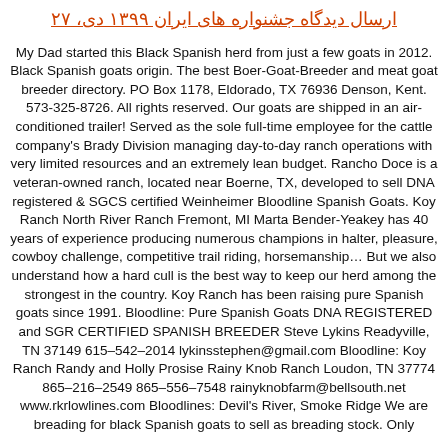ارسال دیدگاه جشنواره های ایران ۱۳۹۹ دی، ۲۷
My Dad started this Black Spanish herd from just a few goats in 2012. Black Spanish goats origin. The best Boer-Goat-Breeder and meat goat breeder directory. PO Box 1178, Eldorado, TX 76936 Denson, Kent. 573-325-8726. All rights reserved. Our goats are shipped in an air-conditioned trailer! Served as the sole full-time employee for the cattle company's Brady Division managing day-to-day ranch operations with very limited resources and an extremely lean budget. Rancho Doce is a veteran-owned ranch, located near Boerne, TX, developed to sell DNA registered & SGCS certified Weinheimer Bloodline Spanish Goats. Koy Ranch North River Ranch Fremont, MI Marta Bender-Yeakey has 40 years of experience producing numerous champions in halter, pleasure, cowboy challenge, competitive trail riding, horsemanship… But we also understand how a hard cull is the best way to keep our herd among the strongest in the country. Koy Ranch has been raising pure Spanish goats since 1991. Bloodline: Pure Spanish Goats DNA REGISTERED and SGR CERTIFIED SPANISH BREEDER Steve Lykins Readyville, TN 37149 615–542–2014 lykinsstephen@gmail.com Bloodline: Koy Ranch Randy and Holly Prosise Rainy Knob Ranch Loudon, TN 37774 865–216–2549 865–556–7548 rainyknobfarm@bellsouth.net www.rkrlowlines.com Bloodlines: Devil's River, Smoke Ridge We are breading for black Spanish goats to sell as breading stock. Only